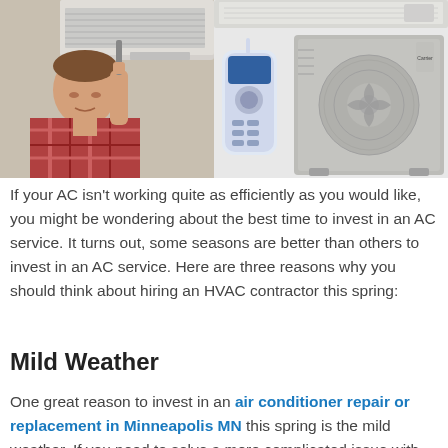[Figure (photo): Left photo: A man in a plaid shirt inspecting or repairing a wall-mounted air conditioning unit, holding a screwdriver. Right panel: A wall-mounted mini-split AC unit at top, an AC remote control in the center-left, and a Carrier outdoor AC condenser unit on the right.]
If your AC isn't working quite as efficiently as you would like, you might be wondering about the best time to invest in an AC service. It turns out, some seasons are better than others to invest in an AC service. Here are three reasons why you should think about hiring an HVAC contractor this spring:
Mild Weather
One great reason to invest in an air conditioner repair or replacement in Minneapolis MN this spring is the mild weather. If you need to solve a more complicated issue with your unit such